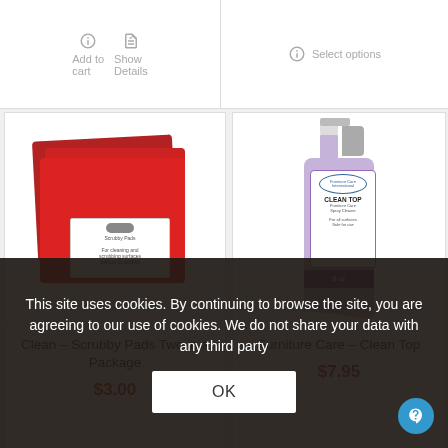[Figure (screenshot): Top navigation area with Add to cart, Show Details, and Select options buttons]
[Figure (photo): Red scrubby pads in package - two red square fabric pads with a product label]
[Figure (photo): Purple/lavender spray bottle labeled CLEAN TOP by Furniture Care]
Clean – Scrubby Pads Two in a Package
$3.00
Furniture Care – Clean Top
$7.95
This site uses cookies. By continuing to browse the site, you are agreeing to our use of cookies. We do not share your data with any third party
OK